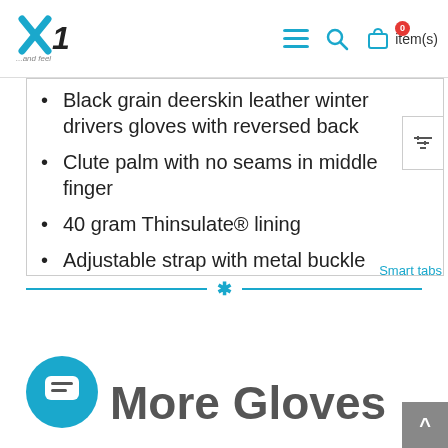X1 logo with navigation icons including menu, search, cart (0 items)
Black grain deerskin leather winter drivers gloves with reversed back
Clute palm with no seams in middle finger
40 gram Thinsulate® lining
Adjustable strap with metal buckle
Keystone thumb
Rolled leather hem
Smart tabs
More Gloves & Vests